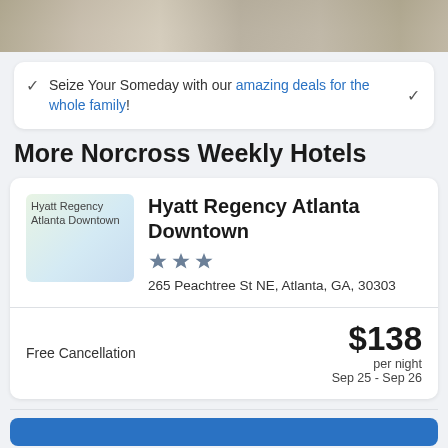[Figure (photo): Top portion of a hotel room photo showing a bed/floor area, cropped at the top of the page]
Seize Your Someday with our amazing deals for the whole family!
More Norcross Weekly Hotels
Hyatt Regency Atlanta Downtown
★★★
265 Peachtree St NE, Atlanta, GA, 30303
Free Cancellation
$138 per night Sep 25 - Sep 26